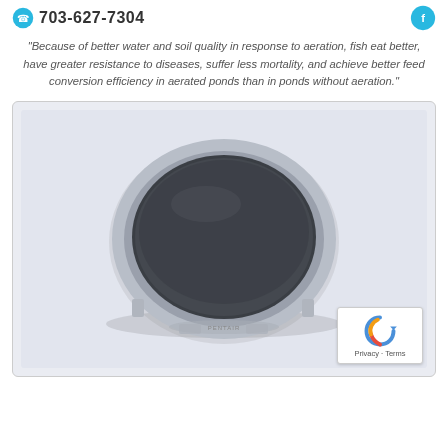703-627-7304
'Because of better water and soil quality in response to aeration, fish eat better, have greater resistance to diseases, suffer less mortality, and achieve better feed conversion efficiency in aerated ponds than in ponds without aeration.'
[Figure (photo): A round disc/membrane diffuser product with a dark gray textured circular membrane surface set in a silver/grey plastic ring frame with tabs, photographed on a white background. Small text on the bottom of the frame reads what appears to be a brand name.]